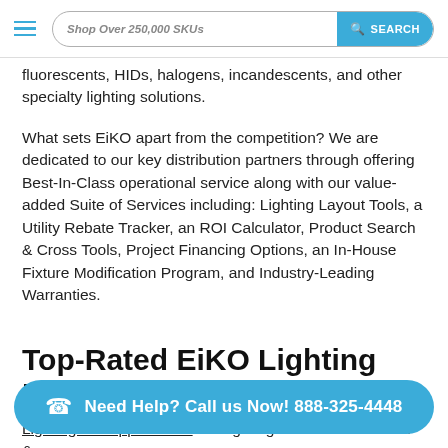Shop Over 250,000 SKUs  SEARCH
fluorescents, HIDs, halogens, incandescents, and other specialty lighting solutions.
What sets EiKO apart from the competition? We are dedicated to our key distribution partners through offering Best-In-Class operational service along with our value-added Suite of Services including: Lighting Layout Tools, a Utility Rebate Tracker, an ROI Calculator, Product Search & Cross Tools, Project Financing Options, an In-House Fixture Modification Program, and Industry-Leading Warranties.
Top-Rated EiKO Lighting Di…
Lightingandsupplies.com is a lighting distributor of Indoor &
Need Help? Call us Now! 888-325-4448